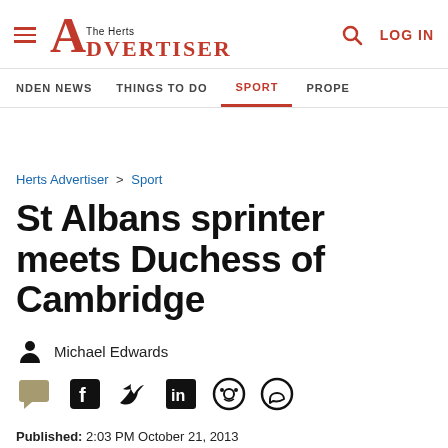The Herts Advertiser — LOG IN
NDEN NEWS  THINGS TO DO  SPORT  PROPE
Herts Advertiser > Sport
St Albans sprinter meets Duchess of Cambridge
Michael Edwards
Published: 2:03 PM October 21, 2013
Updated: 2:48 PM November 1, 2020